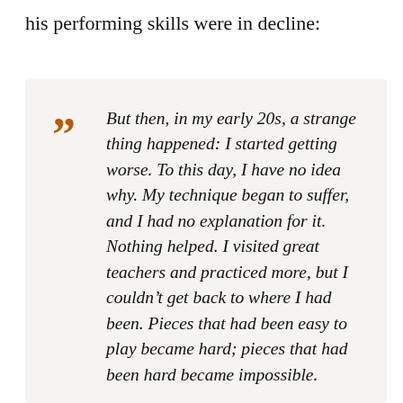his performing skills were in decline:
But then, in my early 20s, a strange thing happened: I started getting worse. To this day, I have no idea why. My technique began to suffer, and I had no explanation for it. Nothing helped. I visited great teachers and practiced more, but I couldn't get back to where I had been. Pieces that had been easy to play became hard; pieces that had been hard became impossible.